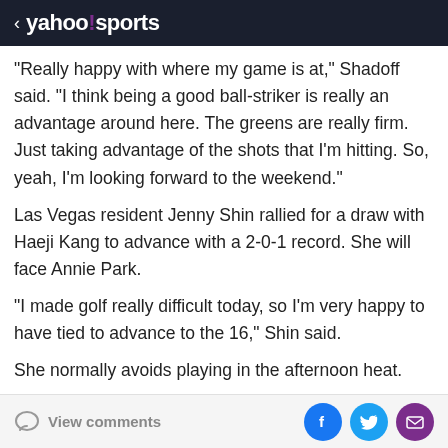< yahoo!sports
“Really happy with where my game is at,” Shadoff said. “I think being a good ball-striker is really an advantage around here. The greens are really firm. Just taking advantage of the shots that I’m hitting. So, yeah, I’m looking forward to the weekend.”
Las Vegas resident Jenny Shin rallied for a draw with Haeji Kang to advance with a 2-0-1 record. She will face Annie Park.
“I made golf really difficult today, so I’m very happy to have tied to advance to the 16,” Shin said.
She normally avoids playing in the afternoon heat.
“It’s just… it’s not… this time…” Shin said. “M